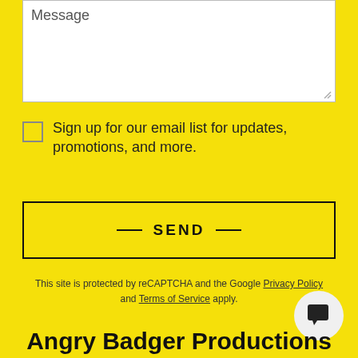Message
Sign up for our email list for updates, promotions, and more.
SEND
This site is protected by reCAPTCHA and the Google Privacy Policy and Terms of Service apply.
[Figure (illustration): Chat bubble icon button, circular gray background with speech bubble icon]
Angry Badger Productions